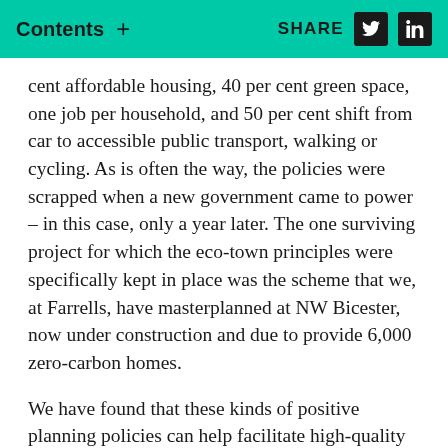Contents + SHARE
cent affordable housing, 40 per cent green space, one job per household, and 50 per cent shift from car to accessible public transport, walking or cycling. As is often the way, the policies were scrapped when a new government came to power – in this case, only a year later. The one surviving project for which the eco-town principles were specifically kept in place was the scheme that we, at Farrells, have masterplanned at NW Bicester, now under construction and due to provide 6,000 zero-carbon homes.
We have found that these kinds of positive planning policies can help facilitate high-quality development. If, as many people have argued, we